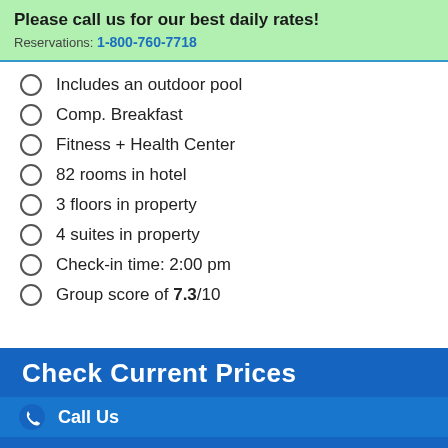Please call us for our best daily rates!
Reservations: 1-800-760-7718
Includes an outdoor pool
Comp. Breakfast
Fitness + Health Center
82 rooms in hotel
3 floors in property
4 suites in property
Check-in time: 2:00 pm
Group score of 7.3/10
Check Current Prices
Call Us